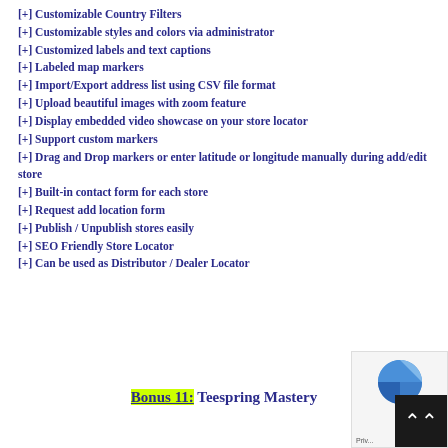[+] Customizable Country Filters
[+] Customizable styles and colors via administrator
[+] Customized labels and text captions
[+] Labeled map markers
[+] Import/Export address list using CSV file format
[+] Upload beautiful images with zoom feature
[+] Display embedded video showcase on your store locator
[+] Support custom markers
[+] Drag and Drop markers or enter latitude or longitude manually during add/edit store
[+] Built-in contact form for each store
[+] Request add location form
[+] Publish / Unpublish stores easily
[+] SEO Friendly Store Locator
[+] Can be used as Distributor / Dealer Locator
Bonus 11: Teespring Mastery